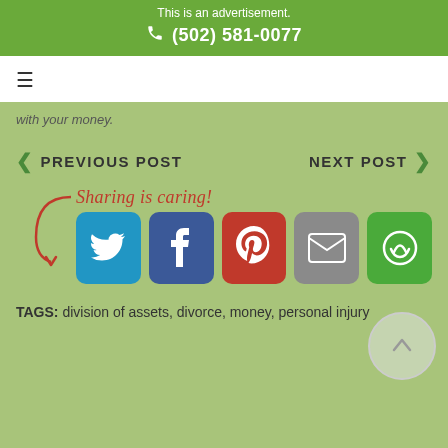This is an advertisement. (502) 581-0077
with your money.
< PREVIOUS POST   NEXT POST >
Sharing is caring!
[Figure (infographic): Social sharing buttons: Twitter, Facebook, Pinterest, Email, Share]
TAGS: division of assets, divorce, money, personal injury